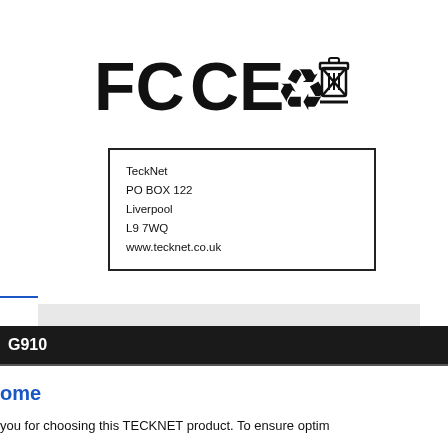[Figure (other): Regulatory symbols: FC (FCC mark), CE mark, recycling symbol, WEEE crossed-out bin symbol]
TeckNet
PO BOX 122
Liverpool
L9 7WQ
www.tecknet.co.uk
G910
ome
you for choosing this TECKNET product. To ensure optim